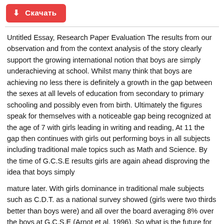Скачать
Untitled Essay, Research Paper Evaluation The results from our observation and from the context analysis of the story clearly support the growing international notion that boys are simply underachieving at school. Whilst many think that boys are achieving no less there is definitely a growth in the gap between the sexes at all levels of education from secondary to primary schooling and possibly even from birth. Ultimately the figures speak for themselves with a noticeable gap being recognized at the age of 7 with girls leading in writing and reading, At 11 the gap then continues with girls out performing boys in all subjects including traditional male topics such as Math and Science. By the time of G.C.S.E results girls are again ahead disproving the idea that boys simply
mature later. With girls dominance in traditional male subjects such as C.D.T. as a national survey showed (girls were two thirds better than boys were) and all over the board averaging 8% over the boys at G.C.S.E (Arnot et al, 1996). So what is the future for boys in society, is it possible for them to regain the ground or is it all societies fault? In this explanation we hope to explain some of the